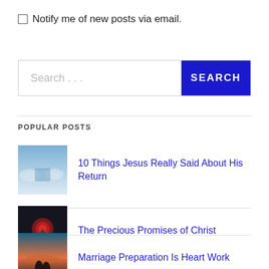Notify me of new posts via email.
[Figure (screenshot): Search bar with text input showing 'Search ...' placeholder and a dark blue SEARCH button]
POPULAR POSTS
10 Things Jesus Really Said About His Return
The Precious Promises of Christ
Marriage Preparation Is Heart Work